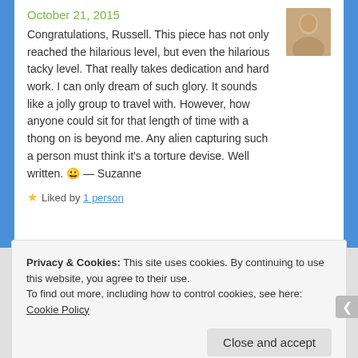October 21, 2015
Congratulations, Russell. This piece has not only reached the hilarious level, but even the hilarious tacky level. That really takes dedication and hard work. I can only dream of such glory. It sounds like a jolly group to travel with. However, how anyone could sit for that length of time with a thong on is beyond me. Any alien capturing such a person must think it's a torture devise. Well written. 😀 — Suzanne
★ Liked by 1 person
Privacy & Cookies: This site uses cookies. By continuing to use this website, you agree to their use.
To find out more, including how to control cookies, see here: Cookie Policy
Close and accept